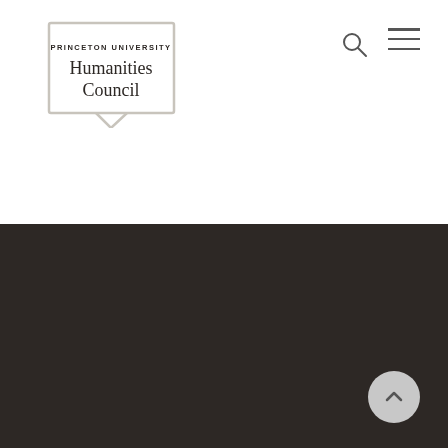[Figure (logo): Princeton University Humanities Council logo — open book shape outline with text 'PRINCETON UNIVERSITY' in small caps and 'Humanities Council' in serif font]
[Figure (other): Search (magnifying glass) icon in top right navigation]
[Figure (other): Hamburger menu (three horizontal lines) icon in top right navigation]
JOSEPH HENRY HOUSE MAP
Princeton University